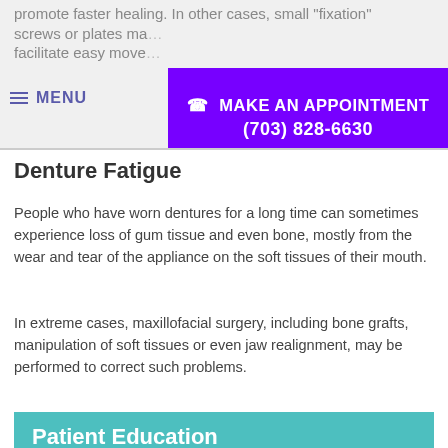promote faster healing. In other cases, small "fixation" screws or plates ma... facilitate easy move...
MENU   ☎ MAKE AN APPOINTMENT (703) 828-6630
Denture Fatigue
People who have worn dentures for a long time can sometimes experience loss of gum tissue and even bone, mostly from the wear and tear of the appliance on the soft tissues of their mouth.
In extreme cases, maxillofacial surgery, including bone grafts, manipulation of soft tissues or even jaw realignment, may be performed to correct such problems.
Patient Education
Oral Health Topics
Tooth Care